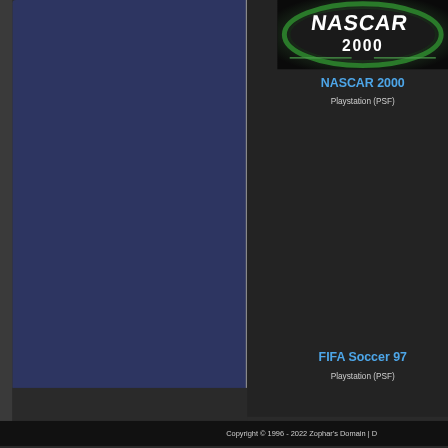[Figure (screenshot): NASCAR 2000 game cover image showing the game logo with green oval border on dark background]
NASCAR 2000
Playstation (PSF)
FIFA Soccer 97
Playstation (PSF)
Copyright © 1996 - 2022 Zophar's Domain | D